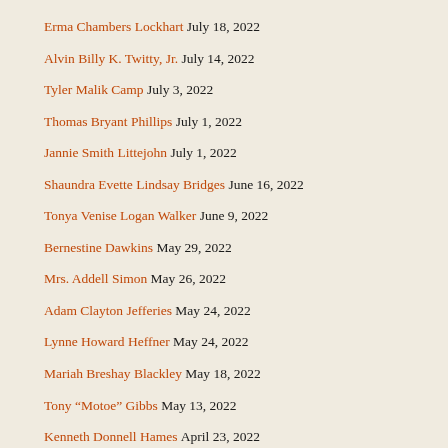Erma Chambers Lockhart July 18, 2022
Alvin Billy K. Twitty, Jr. July 14, 2022
Tyler Malik Camp July 3, 2022
Thomas Bryant Phillips July 1, 2022
Jannie Smith Littejohn July 1, 2022
Shaundra Evette Lindsay Bridges June 16, 2022
Tonya Venise Logan Walker June 9, 2022
Bernestine Dawkins May 29, 2022
Mrs. Addell Simon May 26, 2022
Adam Clayton Jefferies May 24, 2022
Lynne Howard Heffner May 24, 2022
Mariah Breshay Blackley May 18, 2022
Tony “Motoe” Gibbs May 13, 2022
Kenneth Donnell Hames April 23, 2022
Herbert Mitchem, Jr. April 19, 2022